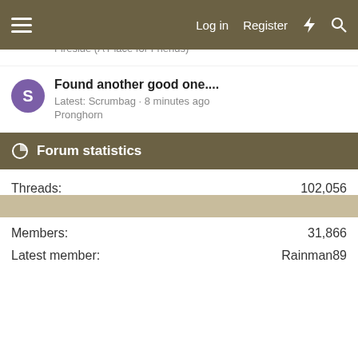Log in  Register
For all you Croc lovers
Latest: Scrumbag · 7 minutes ago
Fireside (A Place for Friends)
Found another good one....
Latest: Scrumbag · 8 minutes ago
Pronghorn
Forum statistics
| Stat | Value |
| --- | --- |
| Threads: | 102,056 |
| Messages: | 1,638,223 |
| Members: | 31,866 |
| Latest member: | Rainman89 |
Share this page
[Figure (infographic): Row of social share buttons: Facebook (blue), Twitter (light blue), Reddit (orange-red), Pinterest (red), Tumblr (dark blue-grey), WhatsApp (green), Email (teal), Link (grey)]